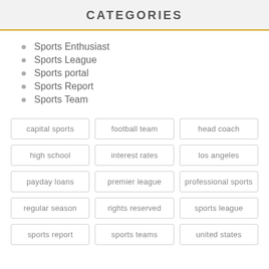CATEGORIES
Sports Enthusiast
Sports League
Sports portal
Sports Report
Sports Team
capital sports
football team
head coach
high school
interest rates
los angeles
payday loans
premier league
professional sports
regular season
rights reserved
sports league
sports report
sports teams
united states